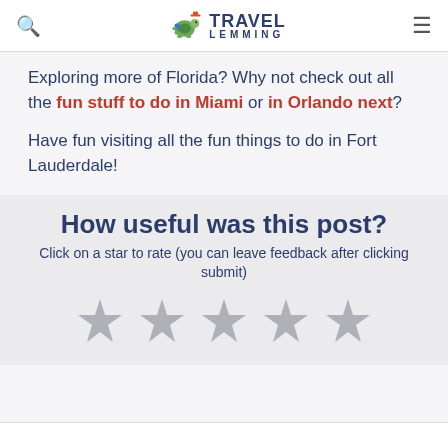Travel Lemming
Exploring more of Florida? Why not check out all the fun stuff to do in Miami or in Orlando next?
Have fun visiting all the fun things to do in Fort Lauderdale!
How useful was this post?
Click on a star to rate (you can leave feedback after clicking submit)
[Figure (other): Five gray star rating icons in a row]